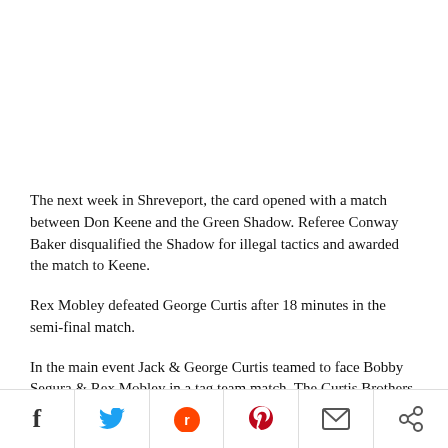The next week in Shreveport, the card opened with a match between Don Keene and the Green Shadow. Referee Conway Baker disqualified the Shadow for illegal tactics and awarded the match to Keene.
Rex Mobley defeated George Curtis after 18 minutes in the semi-final match.
In the main event Jack & George Curtis teamed to face Bobby Segura & Rex Mobley in a tag team match. The Curtis Brothers scored two out of three falls to win the match.
Social sharing bar: Facebook, Twitter, Reddit, Pinterest, Mail, Share